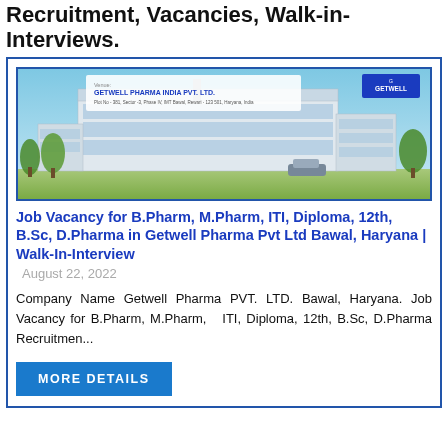Recruitment, Vacancies, Walk-in-Interviews.
[Figure (photo): Getwell Pharma India Pvt. Ltd. building exterior photo with company name and address overlay, and company logo top right.]
Job Vacancy for B.Pharm, M.Pharm, ITI, Diploma, 12th, B.Sc, D.Pharma in Getwell Pharma Pvt Ltd Bawal, Haryana | Walk-In-Interview
August 22, 2022
Company Name Getwell Pharma PVT. LTD. Bawal, Haryana. Job Vacancy for B.Pharm, M.Pharm,  ITI, Diploma, 12th, B.Sc, D.Pharma Recruitmen...
More Details